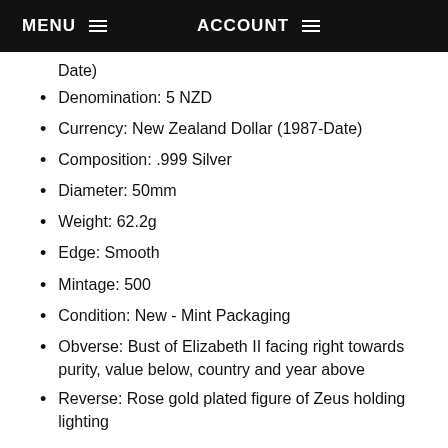MENU  ACCOUNT
Date)
Denomination: 5 NZD
Currency: New Zealand Dollar (1987-Date)
Composition: .999 Silver
Diameter: 50mm
Weight: 62.2g
Edge: Smooth
Mintage: 500
Condition: New - Mint Packaging
Obverse: Bust of Elizabeth II facing right towards purity, value below, country and year above
Reverse: Rose gold plated figure of Zeus holding lighting
A new Niue series, issued as by the Mint of Poland, returns to the Gods of Olympus, and the first piece